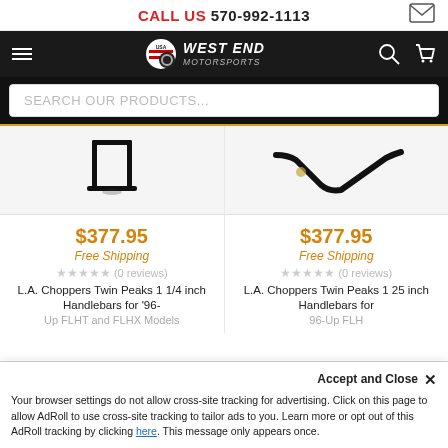CALL US 570-992-1113
[Figure (screenshot): West End Motorsports navigation bar with logo, hamburger menu, search icon, and cart icon on dark background]
SEARCH OUR PRODUCTS...
[Figure (photo): L.A. Choppers Twin Peaks 1 1/4 inch Handlebars for 96-Up FLHT and FLHX Models - black square-style handlebar product image]
[Figure (photo): L.A. Choppers Twin Peaks 1.25 inch Handlebars for 96-Up FLHT and FLHX Models - black Z-style handlebar product image]
$377.95
Free Shipping
★★★★★ (0 reviews)
L.A. Choppers Twin Peaks 1 1/4 inch Handlebars for '96- Up FLHT and FLHX Models
$377.95
Free Shipping
★★★★★ (0 reviews)
L.A. Choppers Twin Peaks 1 25 inch Handlebars for 96-Up FLH
Accept and Close ✕
Your browser settings do not allow cross-site tracking for advertising. Click on this page to allow AdRoll to use cross-site tracking to tailor ads to you. Learn more or opt out of this AdRoll tracking by clicking here. This message only appears once.